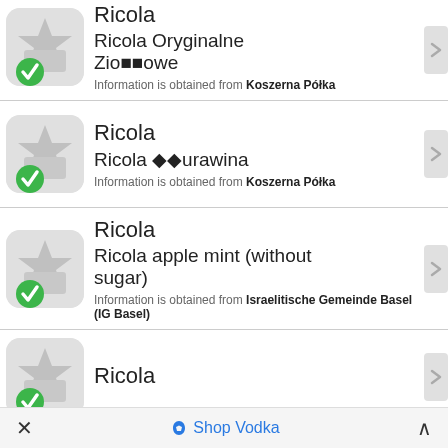Ricola / Ricola Oryginalne Ziołowe / Information is obtained from Koszerna Półka
Ricola / Ricola ◆◆urawina / Information is obtained from Koszerna Półka
Ricola / Ricola apple mint (without sugar) / Information is obtained from Israelitische Gemeinde Basel (IG Basel)
Ricola
× Shop Vodka ^